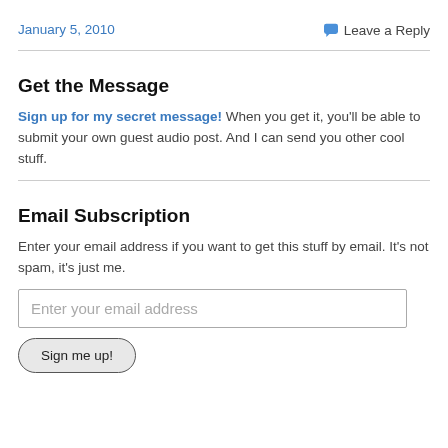January 5, 2010
Leave a Reply
Get the Message
Sign up for my secret message! When you get it, you'll be able to submit your own guest audio post. And I can send you other cool stuff.
Email Subscription
Enter your email address if you want to get this stuff by email. It's not spam, it's just me.
Enter your email address
Sign me up!